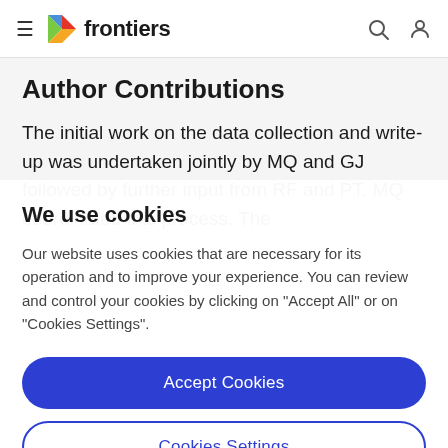frontiers
Author Contributions
The initial work on the data collection and write-up was undertaken jointly by MQ and GJ followed by further input from RF and PT. MQ coordinated this process. The
We use cookies
Our website uses cookies that are necessary for its operation and to improve your experience. You can review and control your cookies by clicking on "Accept All" or on "Cookies Settings".
Accept Cookies
Cookies Settings